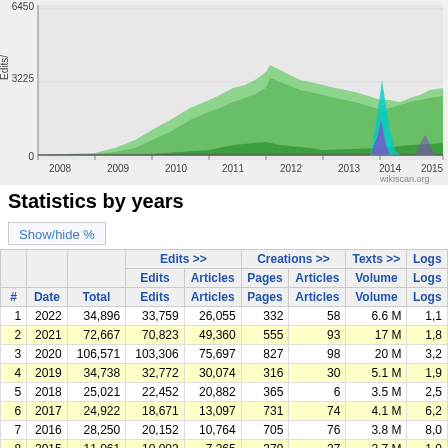[Figure (area-chart): Area chart showing edits over time from 2008 to 2015, with multiple colored area series (green, blue, purple). Y-axis labeled 'Edits/' with values 0, 3225, 6450. X-axis shows years 2008-2015. wikiscan.org watermark visible.]
Statistics by years
Show/hide %
| # | Date | Total | Edits >> | Articles | Pages | Articles | Volume | Logs |
| --- | --- | --- | --- | --- | --- | --- | --- | --- |
| 1 | 2022 | 34,896 | 33,759 | 26,055 | 332 | 58 | 6.6 M | 1,1 |
| 2 | 2021 | 72,667 | 70,823 | 49,360 | 555 | 93 | 17 M | 1,8 |
| 3 | 2020 | 106,571 | 103,306 | 75,697 | 827 | 98 | 20 M | 3,2 |
| 4 | 2019 | 34,738 | 32,772 | 30,074 | 316 | 30 | 5.1 M | 1,9 |
| 5 | 2018 | 25,021 | 22,452 | 20,882 | 365 | 6 | 3.5 M | 2,5 |
| 6 | 2017 | 24,922 | 18,671 | 13,097 | 731 | 74 | 4.1 M | 6,2 |
| 7 | 2016 | 28,250 | 20,152 | 10,764 | 705 | 76 | 3.8 M | 8,0 |
| 8 | 2015 | 11,061 | 10,003 | 7,365 | 379 | 27 | 2.7 M | 1,0 |
| 9 | 2014 | 12,898 | 11,755 | 7,265 | 285 | 42 | 2.6 M | 1,1 |
| 10 | 2013 | 12,827 | 11,839 | 5,846 | 110 | 26 | 2.4 M | 9 |